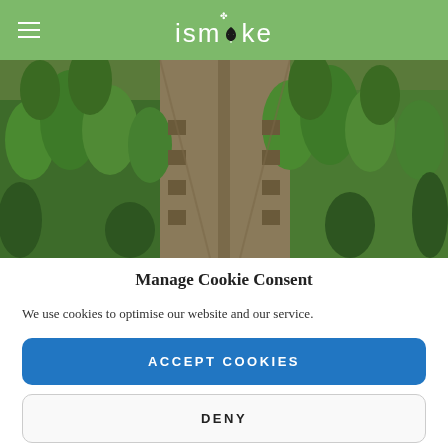ismoke
[Figure (photo): Aerial view of a cannabis farm with rows of plants in a greenhouse or outdoor field setting, green plants visible across a wide expanse with a central pathway]
Manage Cookie Consent
We use cookies to optimise our website and our service.
ACCEPT COOKIES
DENY
VIEW PREFERENCES